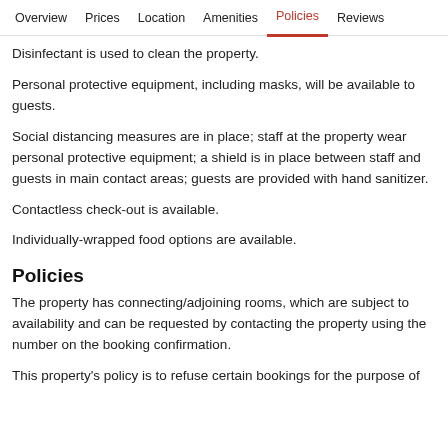Overview  Prices  Location  Amenities  Policies  Reviews
Disinfectant is used to clean the property.
Personal protective equipment, including masks, will be available to guests.
Social distancing measures are in place; staff at the property wear personal protective equipment; a shield is in place between staff and guests in main contact areas; guests are provided with hand sanitizer.
Contactless check-out is available.
Individually-wrapped food options are available.
Policies
The property has connecting/adjoining rooms, which are subject to availability and can be requested by contacting the property using the number on the booking confirmation.
This property's policy is to refuse certain bookings for the purpose of